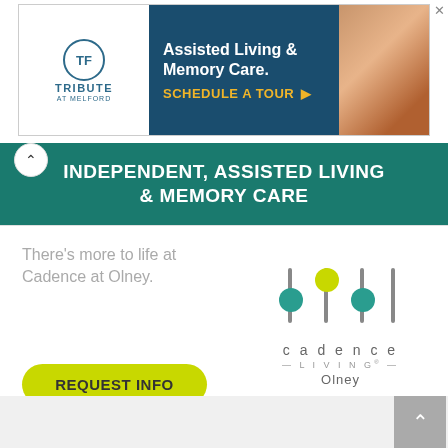[Figure (screenshot): Tribute at Melford advertisement banner: white left section with Tribute at Melford logo (blue circle with TF initials), dark blue center with text 'Assisted Living & Memory Care. SCHEDULE A TOUR ▶', and a photo of elderly person on right]
[Figure (screenshot): Cadence at Olney advertisement: teal banner header 'INDEPENDENT, ASSISTED LIVING & MEMORY CARE', white body with tagline 'There's more to life at Cadence at Olney.', yellow-green REQUEST INFO button, and Cadence Living Olney logo with colored circles]
Ad  cadencesl.com
More ▼
[Figure (photo): Acer laptop computer showing Windows 10 desktop with green splash wallpaper, partial view from below]